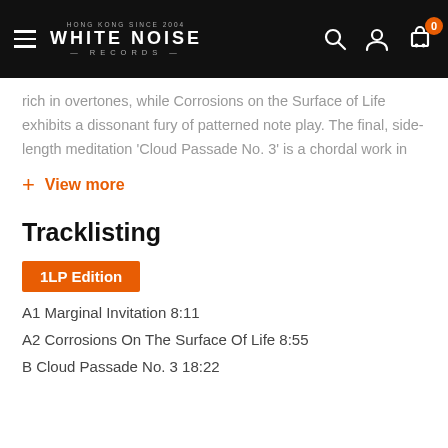WHITE NOISE RECORDS
rich in overtones, while Corrosions on the Surface of Life exhibits a dissonant fury of patterned note play. The final, side-length meditation 'Cloud Passade No. 3' is a chordal work in
+ View more
Tracklisting
1LP Edition
A1 Marginal Invitation 8:11
A2 Corrosions On The Surface Of Life 8:55
B Cloud Passade No. 3 18:22